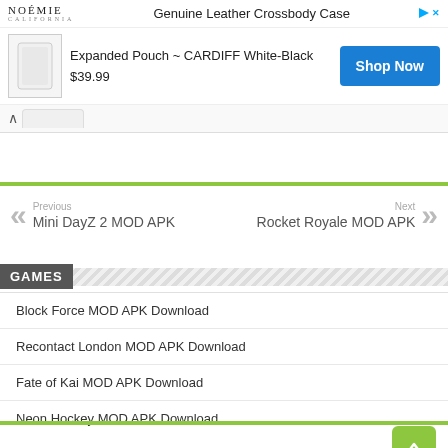[Figure (screenshot): Advertisement banner for NOÉMIE Genuine Leather Crossbody Case featuring Expanded Pouch CARDIFF White-Black at $39.99 with Shop Now button]
Previous
Mini DayZ 2 MOD APK
Next
Rocket Royale MOD APK
GAMES
Block Force MOD APK Download
Recontact London MOD APK Download
Fate of Kai MOD APK Download
Neon Hockey MOD APK Download